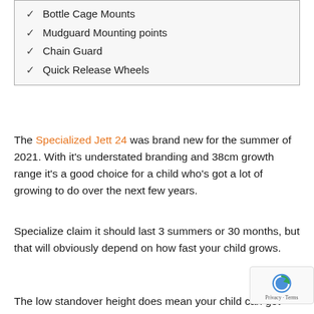✓ Bottle Cage Mounts
✓ Mudguard Mounting points
✓ Chain Guard
✓ Quick Release Wheels
The Specialized Jett 24 was brand new for the summer of 2021. With it's understated branding and 38cm growth range it's a good choice for a child who's got a lot of growing to do over the next few years.
Specialize claim it should last 3 summers or 30 months, but that will obviously depend on how fast your child grows.
The low standover height does mean your child can get